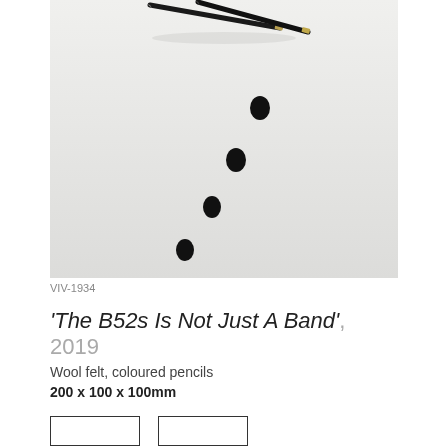[Figure (photo): Photograph of an art installation: pencils balanced at top, with four black felt dots descending diagonally downward on a white/light grey background. Light grey image background with a subtle shadow beneath the pencils.]
VIV-1934
'The B52s Is Not Just A Band', 2019
Wool felt, coloured pencils
200 x 100 x 100mm